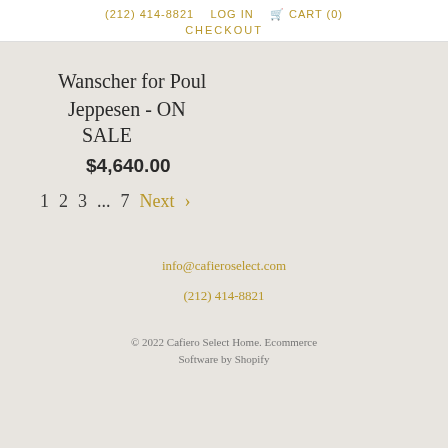(212) 414-8821   LOG IN   🛒 CART (0)   CHECKOUT
Wanscher for Poul Jeppesen - ON SALE
$4,640.00
1  2  3  ...  7  Next  >
info@cafieroselect.com
(212) 414-8821
© 2022 Cafiero Select Home. Ecommerce Software by Shopify